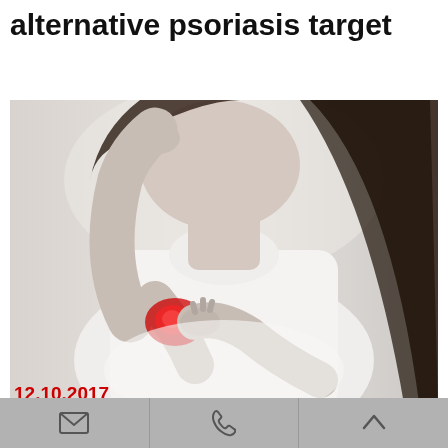alternative psoriasis target
[Figure (photo): Woman in white sleeveless top scratching/holding her elbow, which is highlighted in red indicating pain or inflammation, shown in a desaturated medical stock photo style.]
© jpkirakun/Fotolia.com
12.10.2017
by tg
email | phone | up arrow (mobile navigation icons)